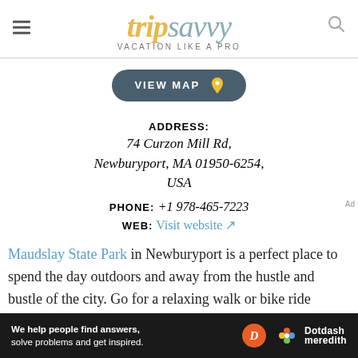tripsavvy VACATION LIKE A PRO
VIEW MAP
ADDRESS: 74 Curzon Mill Rd, Newburyport, MA 01950-6254, USA
PHONE: +1 978-465-7223
WEB: Visit website
Maudslay State Park in Newburyport is a perfect place to spend the day outdoors and away from the hustle and bustle of the city. Go for a relaxing walk or bike ride
[Figure (screenshot): Dotdash Meredith advertisement banner at bottom of page]